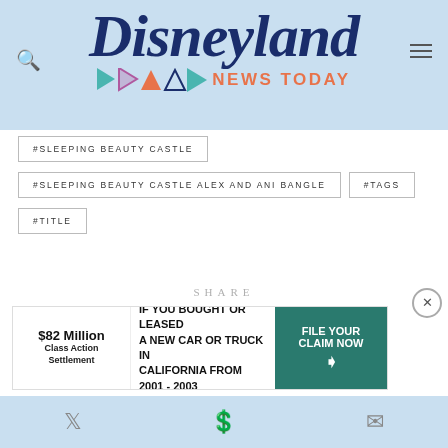[Figure (logo): Disneyland News Today logo with dark blue italic script 'Disneyland', colorful triangle shapes, and orange 'NEWS TODAY' text on light blue background]
#SLEEPING BEAUTY CASTLE
#SLEEPING BEAUTY CASTLE ALEX AND ANI BANGLE
#TAGS
#TITLE
SHARE
FACEBOOK    TWITTER    PINTEREST
REDDIT    EMAIL
[Figure (infographic): Advertisement banner: $82 Million Class Action Settlement - IF YOU BOUGHT OR LEASED A NEW CAR OR TRUCK IN CALIFORNIA FROM 2001 - 2003 - FILE YOUR CLAIM NOW button]